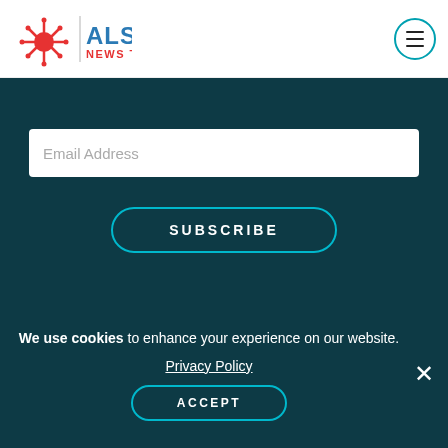ALS NEWS TODAY
Email Address
SUBSCRIBE
[Figure (logo): BioNews logo with colorful circle icon and text BIONEWS WE ARE RARE.]
BioNews, Inc.
7 W. Garden St.
We use cookies to enhance your experience on our website. Privacy Policy ACCEPT